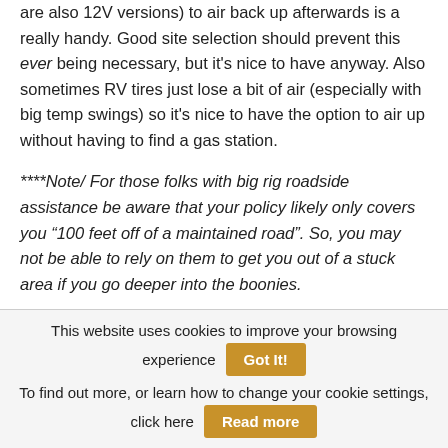are also 12V versions) to air back up afterwards is a really handy. Good site selection should prevent this ever being necessary, but it's nice to have anyway. Also sometimes RV tires just lose a bit of air (especially with big temp swings) so it's nice to have the option to air up without having to find a gas station.
****Note/ For those folks with big rig roadside assistance be aware that your policy likely only covers you “100 feet off of a maintained road”. So, you may not be able to rely on them to get you out of a stuck area if you go deeper into the boonies.
This website uses cookies to improve your browsing experience  Got It!  To find out more, or learn how to change your cookie settings, click here  Read more